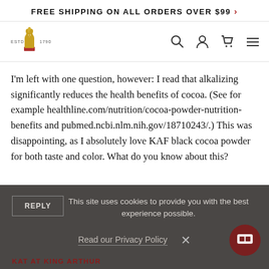FREE SHIPPING ON ALL ORDERS OVER $99 >
[Figure (logo): King Arthur Baking Company logo with crown and wheat motif, ESTD 1790]
I'm left with one question, however: I read that alkalizing significantly reduces the health benefits of cocoa. (See for example healthline.com/nutrition/cocoa-powder-nutrition-benefits and pubmed.ncbi.nlm.nih.gov/18710243/.) This was disappointing, as I absolutely love KAF black cocoa powder for both taste and color. What do you know about this?
REPLY
This site uses cookies to provide you with the best experience possible.
Read our Privacy Policy
KAT AT KING ARTHUR